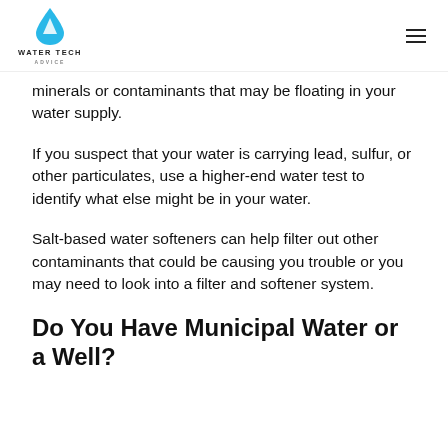WATER TECH ADVICE
minerals or contaminants that may be floating in your water supply.
If you suspect that your water is carrying lead, sulfur, or other particulates, use a higher-end water test to identify what else might be in your water.
Salt-based water softeners can help filter out other contaminants that could be causing you trouble or you may need to look into a filter and softener system.
Do You Have Municipal Water or a Well?